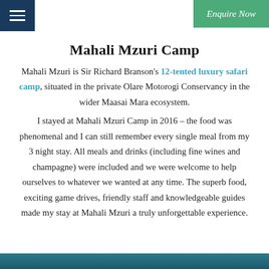[hamburger menu] [Enquire Now button]
Mahali Mzuri Camp
Mahali Mzuri is Sir Richard Branson's 12-tented luxury safari camp, situated in the private Olare Motorogi Conservancy in the wider Maasai Mara ecosystem.
I stayed at Mahali Mzuri Camp in 2016 – the food was phenomenal and I can still remember every single meal from my 3 night stay. All meals and drinks (including fine wines and champagne) were included and we were welcome to help ourselves to whatever we wanted at any time. The superb food, exciting game drives, friendly staff and knowledgeable guides made my stay at Mahali Mzuri a truly unforgettable experience.